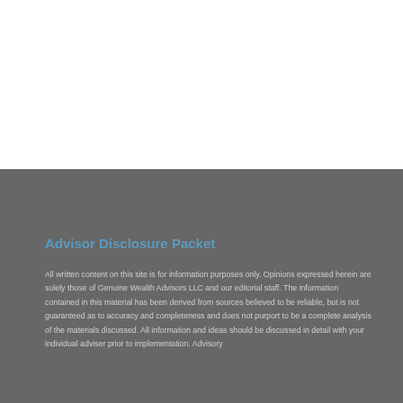Advisor Disclosure Packet
All written content on this site is for information purposes only. Opinions expressed herein are solely those of Genuine Wealth Advisors LLC and our editorial staff. The information contained in this material has been derived from sources believed to be reliable, but is not guaranteed as to accuracy and completeness and does not purport to be a complete analysis of the materials discussed. All information and ideas should be discussed in detail with your individual adviser prior to implementation. Advisory